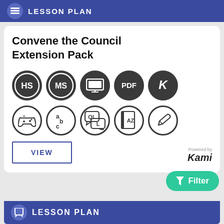LESSON PLAN
Convene the Council Extension Pack
[Figure (infographic): Two rows of circular icons: top row has HS, MS, screen/presentation, PDF, K (Kami) icons filled dark; bottom row has game controller, abc, chat bubbles QL, AZ dictionary, pencil/edit icons outlined]
VIEW
Powered by Kami
Filter
LESSON PLAN